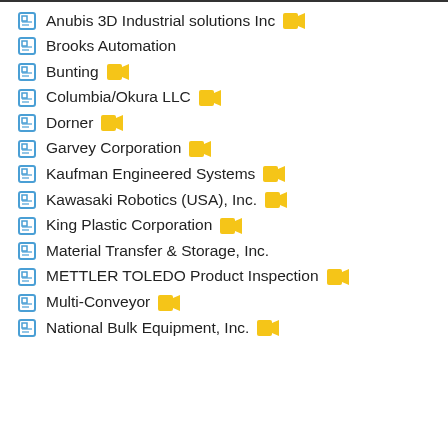Anubis 3D Industrial solutions Inc [video]
Brooks Automation
Bunting [video]
Columbia/Okura LLC [video]
Dorner [video]
Garvey Corporation [video]
Kaufman Engineered Systems [video]
Kawasaki Robotics (USA), Inc. [video]
King Plastic Corporation [video]
Material Transfer & Storage, Inc.
METTLER TOLEDO Product Inspection [video]
Multi-Conveyor [video]
National Bulk Equipment, Inc. [video]